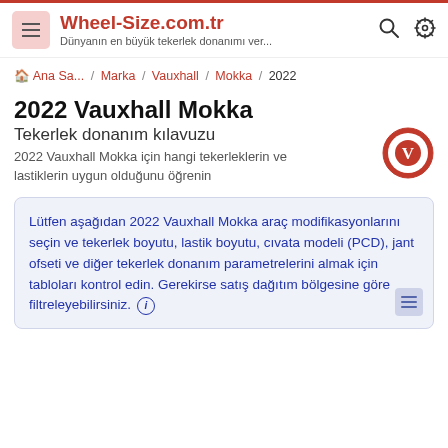Wheel-Size.com.tr — Dünyanın en büyük tekerlek donanımı ver...
Ana Sa... / Marka / Vauxhall / Mokka / 2022
2022 Vauxhall Mokka
Tekerlek donanım kılavuzu
2022 Vauxhall Mokka için hangi tekerleklerin ve lastiklerin uygun olduğunu öğrenin
Lütfen aşağıdan 2022 Vauxhall Mokka araç modifikasyonlarını seçin ve tekerlek boyutu, lastik boyutu, cıvata modeli (PCD), jant ofseti ve diğer tekerlek donanım parametrelerini almak için tabloları kontrol edin. Gerekirse satış dağıtım bölgesine göre filtreleyebilirsiniz.